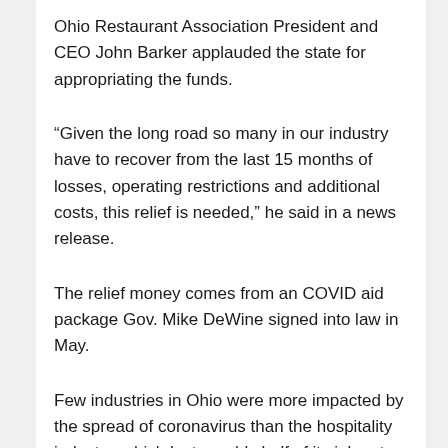Ohio Restaurant Association President and CEO John Barker applauded the state for appropriating the funds.
“Given the long road so many in our industry have to recover from the last 15 months of losses, operating restrictions and additional costs, this relief is needed,” he said in a news release.
The relief money comes from an COVID aid package Gov. Mike DeWine signed into law in May.
Few industries in Ohio were more impacted by the spread of coronavirus than the hospitality industry, which lost roughly half of its jobs at the